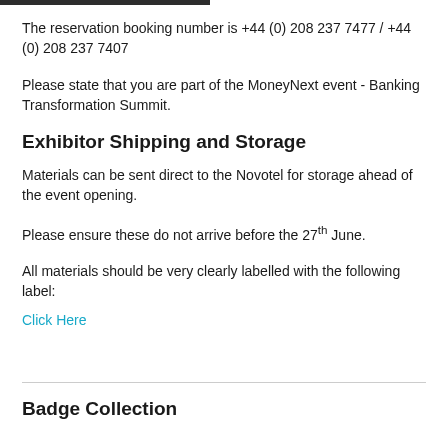The reservation booking number is +44 (0) 208 237 7477 / +44 (0) 208 237 7407
Please state that you are part of the MoneyNext event - Banking Transformation Summit.
Exhibitor Shipping and Storage
Materials can be sent direct to the Novotel for storage ahead of the event opening.
Please ensure these do not arrive before the 27th June.
All materials should be very clearly labelled with the following label:
Click Here
Badge Collection